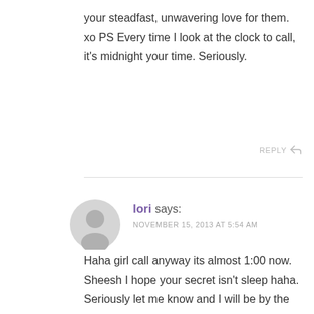your steadfast, unwavering love for them. xo PS Every time I look at the clock to call, it's midnight your time. Seriously.
REPLY ↩
lori says:
NOVEMBER 15, 2013 AT 5:54 AM
Haha girl call anyway its almost 1:00 now. Sheesh I hope your secret isn't sleep haha. Seriously let me know and I will be by the phone.
REPLY ↩